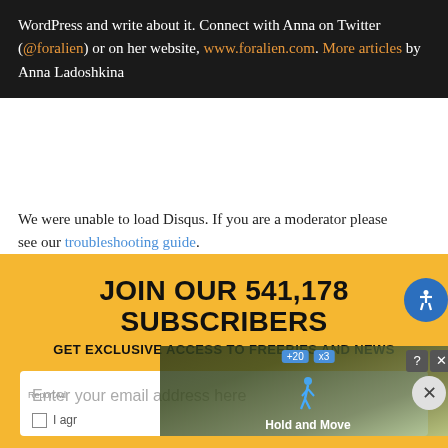WordPress and write about it. Connect with Anna on Twitter (@foralien) or on her website, www.foralien.com. More articles by Anna Ladoshkina
We were unable to load Disqus. If you are a moderator please see our troubleshooting guide.
JOIN OUR 541,178 SUBSCRIBERS
GET EXCLUSIVE ACCESS TO FREEBIES AND NEWS
[Figure (screenshot): Email subscription form with placeholder text 'Enter your email address here', a checkbox row starting with 'I agr', and an overlaid advertisement for 'Hold and Move' app with counter badges and close controls.]